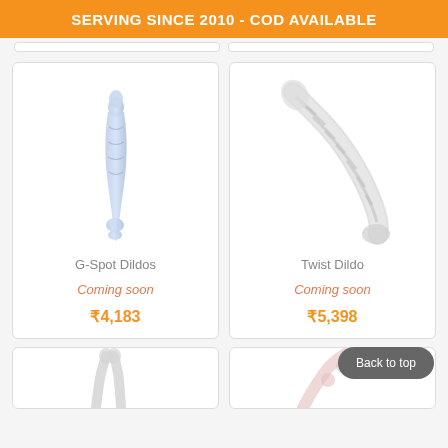SERVING SINCE 2010 - COD AVAILABLE
[Figure (photo): G-Spot Dildo product image - blue twisted slim toy]
G-Spot Dildos
Coming soon
₹4,183
[Figure (photo): Twist Dildo product image - clear glass ribbed curved toy]
Twist Dildo
Coming soon
₹5,398
[Figure (photo): Bottom left product partial image - clear glass forked toy]
[Figure (photo): Bottom right product partial image - pink beaded toy]